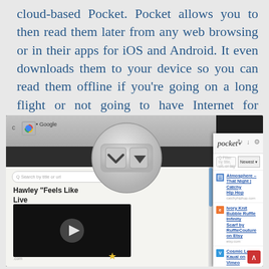cloud-based Pocket. Pocket allows you to then read them later from any web browsing or in their apps for iOS and Android. It even downloads them to your device so you can read them offline if you're going on a long flight or not going to have Internet for awhile.
[Figure (screenshot): Screenshot showing the Pocket browser extension button (a magnified circular button with the Pocket logo) overlaid on a browser window, alongside the Pocket sidebar panel showing a list of saved articles including 'Atmosphere – That Night | Catchy Hip Hop', 'Ivory Knit Bubble Ruffle Infinity Scarf by RuffleCouture on Etsy', 'Cosmic Love – Kauai on Vimeo', 'Lovestagram – Lovestagram', 'Mieke Strand + Photography Blog', and 'Bucket List in Action: Amanda Runs a Marathon « Our Life Outside the Box'.]